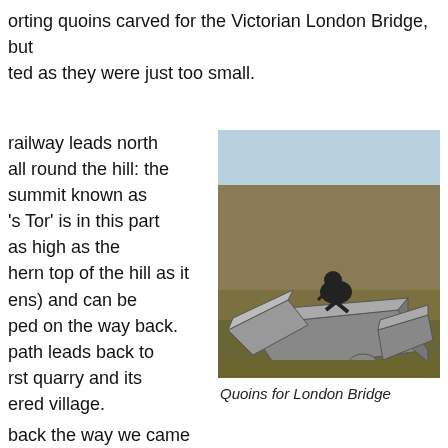orting quoins carved for the Victorian London Bridge, but ted as they were just too small.
railway leads north all round the hill: the summit known as 's Tor' is in this part as high as the hern top of the hill as it ens) and can be ped on the way back. path leads back to rst quarry and its ered village.
[Figure (photo): A person crouching on top of large granite stone blocks scattered on moorland, with open moorland landscape visible in the background.]
Quoins for London Bridge
back the way we came